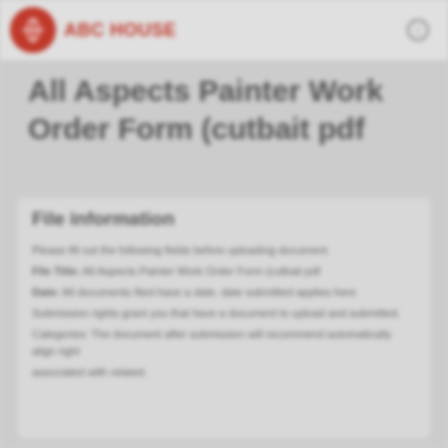ABC HOUSE
All Aspects Painter Work Order Form (cutbait pdf
File information
Please fill out the following fields before uploading document.
File Title: All Aspects Painter Work Order Form (cutbait pdf
Date: All documents filed have a date, date submitted applies here
Submission rights grant you that have a document to upload and submitted.
Categories: The document after submission will recommend automatically align right
associated with related.